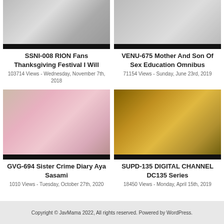[Figure (photo): DVD cover for SSNI-008 RION Fans Thanksgiving Festival]
SSNI-008 RION Fans Thanksgiving Festival I Will
103714 Views - Wednesday, November 7th, 2018
[Figure (photo): DVD cover for VENU-675 Mother And Son Of Sex Education Omnibus]
VENU-675 Mother And Son Of Sex Education Omnibus
71154 Views - Sunday, June 23rd, 2019
[Figure (photo): DVD cover for GVG-694 Sister Crime Diary Aya Sasami]
GVG-694 Sister Crime Diary Aya Sasami
1010 Views - Tuesday, October 27th, 2020
[Figure (photo): DVD cover for SUPD-135 DIGITAL CHANNEL DC135 Series]
SUPD-135 DIGITAL CHANNEL DC135 Series
18450 Views - Monday, April 15th, 2019
Copyright © JavMama 2022, All rights reserved. Powered by WordPress.